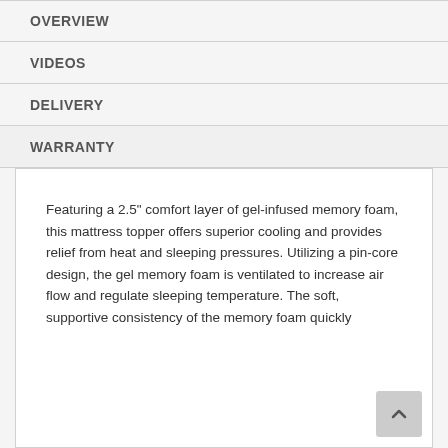OVERVIEW
VIDEOS
DELIVERY
WARRANTY
Featuring a 2.5" comfort layer of gel-infused memory foam, this mattress topper offers superior cooling and provides relief from heat and sleeping pressures. Utilizing a pin-core design, the gel memory foam is ventilated to increase air flow and regulate sleeping temperature. The soft, supportive consistency of the memory foam quickly